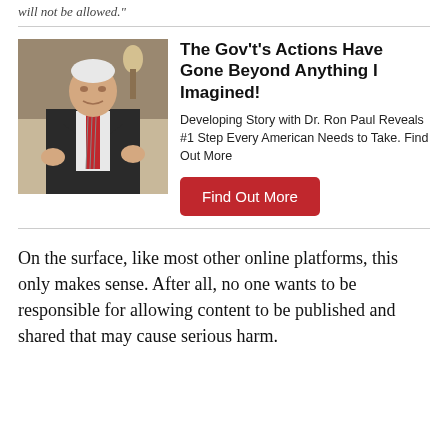will not be allowed."
[Figure (photo): Man in dark suit with striped tie speaking, gesturing with hands]
The Gov't's Actions Have Gone Beyond Anything I Imagined!
Developing Story with Dr. Ron Paul Reveals #1 Step Every American Needs to Take. Find Out More
Find Out More
On the surface, like most other online platforms, this only makes sense. After all, no one wants to be responsible for allowing content to be published and shared that may cause serious harm.